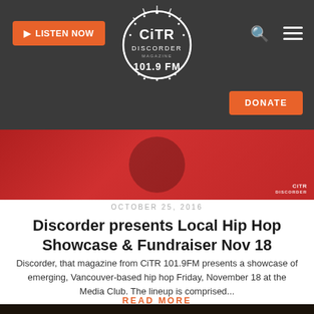CiTR Discorder 101.9FM — LISTEN NOW | DONATE
[Figure (screenshot): Red hero banner image with CiTR Discorder logo watermark in bottom right]
OCTOBER 25, 2016
Discorder presents Local Hip Hop Showcase & Fundraiser Nov 18
Discorder, that magazine from CiTR 101.9FM presents a showcase of emerging, Vancouver-based hip hop Friday, November 18 at the Media Club. The lineup is comprised...
READ MORE
[Figure (photo): Dark bottom preview image of next article]